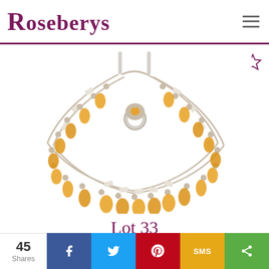Roseberys
[Figure (photo): A citrine and seed pearl necklace alongside a citrine cluster ring, photographed on white background. The necklace features oval yellow citrine drops suspended from a seed pearl and gold framework in a fringe style. The ring has a central citrine surrounded by smaller stones.]
Lot 33
A Seed Pearl And Citrine Necklace And A Citri...